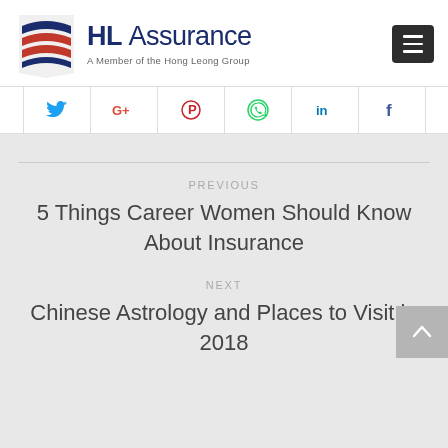[Figure (logo): HL Assurance logo with flag-like icon and text 'HL Assurance - A Member of the Hong Leong Group']
[Figure (infographic): Social media sharing buttons row: Twitter, Google+, Pinterest, WhatsApp, LinkedIn, Facebook]
PREVIOUS
5 Things Career Women Should Know About Insurance
NEXT
Chinese Astrology and Places to Visit in 2018